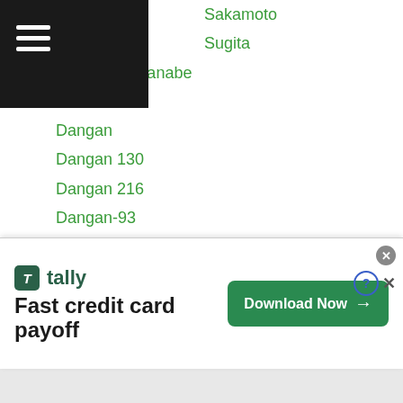Sakamoto
Sugita
Daisuke Watanabe
Dan Bi Kim
Dangan
Dangan 130
Dangan 216
Dangan-93
Dangan Aoki
Daniel Geale
Daniel Martin
Daniel-ponce-de-leon
Danila Semenov
Daniyar Yeleussinov
Danrick Sumabong
...ardon
[Figure (screenshot): Advertisement banner for Tally app: 'Fast credit card payoff' with Download Now button. Infolinks badge visible.]